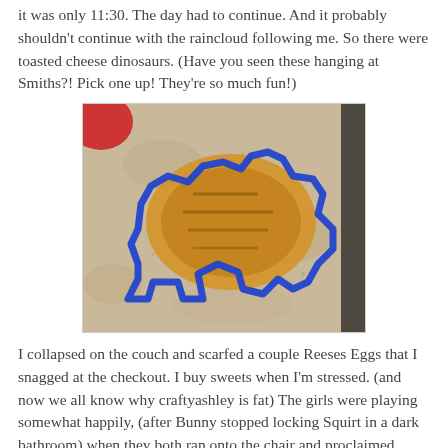it was only 11:30. The day had to continue. And it probably shouldn't continue with the raincloud following me. So there were toasted cheese dinosaurs. (Have you seen these hanging at Smiths?! Pick one up! They're so much fun!)
[Figure (photo): A blue dinosaur-shaped sandwich/cookie cutter on a granite countertop containing a toasted grilled cheese sandwich cut into a dinosaur shape. A red plate is partially visible in the top-left corner.]
I collapsed on the couch and scarfed a couple Reeses Eggs that I snagged at the checkout. I buy sweets when I'm stressed. (and now we all know why craftyashley is fat) The girls were playing somewhat happily, (after Bunny stopped locking Squirt in a dark bathroom) when they both ran onto the chair and proclaimed, "Momma! There's bug on trains!" I tried to ignore this. I really did. But after finding a suspicious